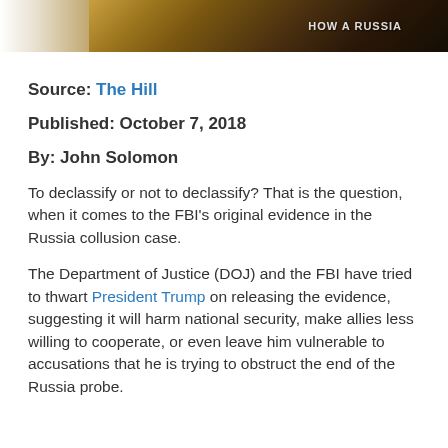[Figure (photo): Partial photograph showing a person at what appears to be a congressional hearing or official setting, with a wooden desk/podium visible. A sign is partially visible with white text.]
Source: The Hill
Published: October 7, 2018
By: John Solomon
To declassify or not to declassify? That is the question, when it comes to the FBI's original evidence in the Russia collusion case.
The Department of Justice (DOJ) and the FBI have tried to thwart President Trump on releasing the evidence, suggesting it will harm national security, make allies less willing to cooperate, or even leave him vulnerable to accusations that he is trying to obstruct the end of the Russia probe.